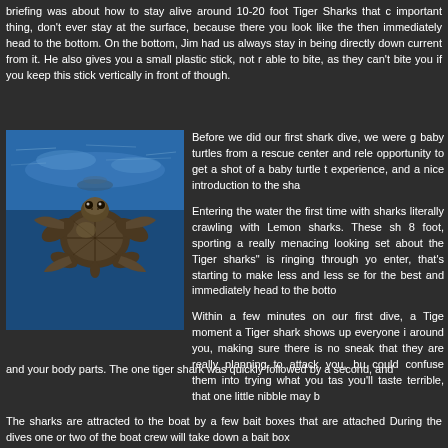briefing was about how to stay alive around 10-20 foot Tiger Sharks that c... important thing, don't ever stay at the surface, because there you look like the... then immediately head to the bottom. On the bottom, Jim had us always stay in... being directly down current from it. He also gives you a small plastic stick, not r... able to bite, as they can't bite you if you keep this stick vertically in front of... though.
[Figure (photo): Baby sea turtle photographed from above underwater, shell visible with flippers extended, blue water background]
Before we did our first shark dive, we were g... baby turtles from a rescue center and rele... opportunity to get a shot of a baby turtle t... experience, and a nice introduction to the sha...
Entering the water the first time with sharks... literally crawling with Lemon sharks. These sh... 8 foot, sporting a really menacing looking set... about the Tiger sharks" is ringing through yo... enter, that's starting to make less and less se... for the best and immediately head to the botto...
Within a few minutes on our first dive, a Tige... moment a Tiger shark shows up everyone i... around you, making sure there is no sneak... that they are really planning to attack you, bu... could confuse them into trying what you tas... you'll taste terrible, that one little nibble may b... and your body parts. The one tiger shark was quickly followed by a second, and...
The sharks are attracted to the boat by a few bait boxes that are attached... During the dives one or two of the boat crew will take down a bait box...